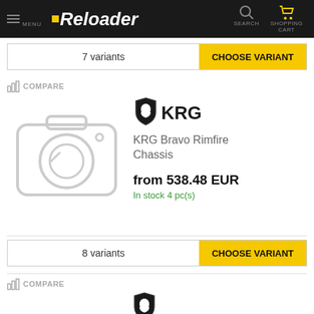Reloader — MENU | SEARCH | SHOPPING CART
7 variants
CHOOSE VARIANT
COMPARE
[Figure (logo): KRG brand logo — shield icon with bullet silhouette and text KRG]
KRG Bravo Rimfire Chassis
from 538.48 EUR
In stock 4 pc(s)
8 variants
CHOOSE VARIANT
COMPARE
[Figure (photo): No image placeholder — camera icon outline in light grey]